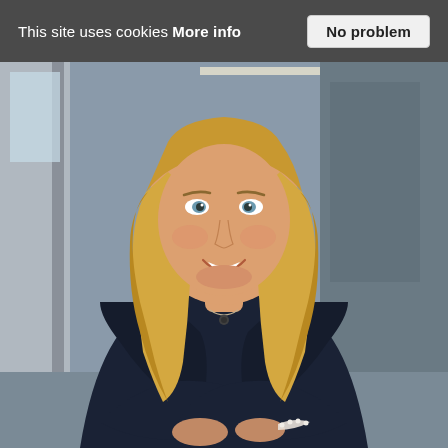This site uses cookies More info   No problem
[Figure (photo): Professional headshot of a smiling blonde woman wearing a dark navy blazer with arms crossed, seated in a modern office environment. She has shoulder-length straight blonde hair and blue eyes and is wearing a necklace and pearl bracelet.]